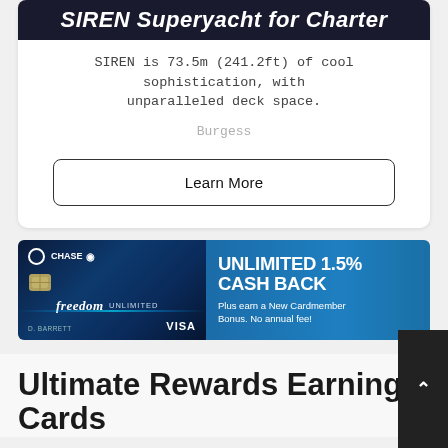SIREN Superyacht for Charter
SIREN is 73.5m (241.2ft) of cool sophistication, with unparalleled deck space.
Burgess
Learn More
[Figure (infographic): Chase Freedom Unlimited credit card advertisement banner. Left side shows the blue credit card with 'freedom UNLIMITED' text, chip, D. BARRETT holder name, and VISA logo. Right side shows teal/blue background with text: UNLIMITED 1.5% CASH BACK. Plus earn a New Cardmember Bonus. No annual fee!]
Ultimate Rewards Earning Cards